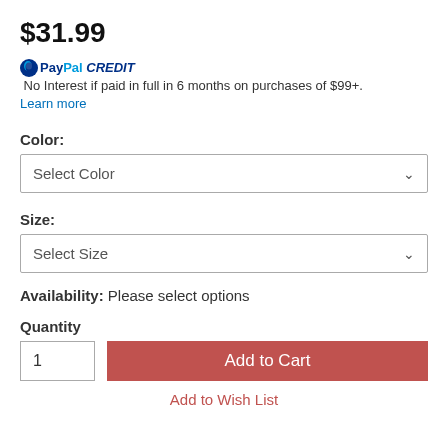$31.99
PayPal CREDIT No Interest if paid in full in 6 months on purchases of $99+. Learn more
Color:
Select Color
Size:
Select Size
Availability: Please select options
Quantity
1
Add to Cart
Add to Wish List